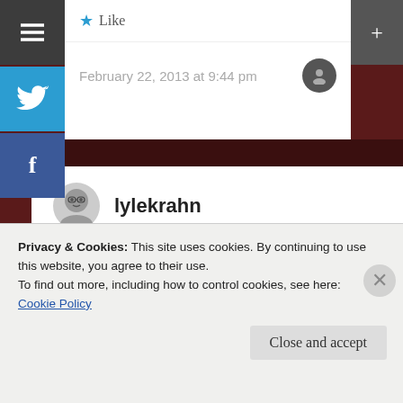[Figure (screenshot): Social sharing sidebar with hamburger menu, Twitter, and Facebook buttons]
Like
February 22, 2013 at 9:44 pm
lylekrahn
I appreciate that. Thanks for sharing.
Like
Privacy & Cookies: This site uses cookies. By continuing to use this website, you agree to their use.
To find out more, including how to control cookies, see here:
Cookie Policy
Close and accept